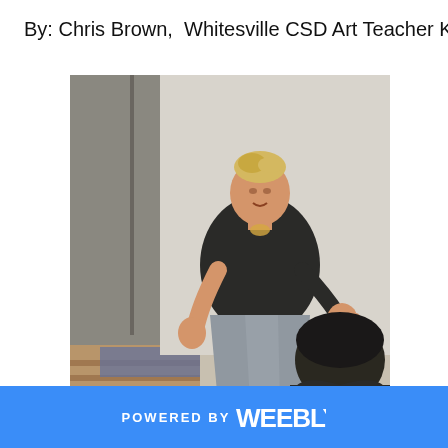By: Chris Brown,  Whitesville CSD Art Teacher K-12
[Figure (photo): A woman in a black top and gray skirt standing and gesturing, apparently teaching or presenting, with a student visible from behind in the lower right. Indoor setting with light walls and a door visible in the background.]
POWERED BY weebly